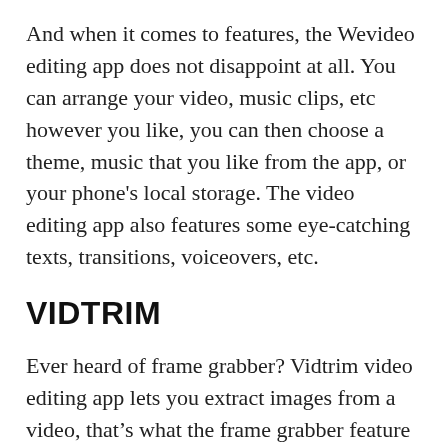And when it comes to features, the Wevideo editing app does not disappoint at all. You can arrange your video, music clips, etc however you like, you can then choose a theme, music that you like from the app, or your phone's local storage. The video editing app also features some eye-catching texts, transitions, voiceovers, etc.
VIDTRIM
Ever heard of frame grabber? Vidtrim video editing app lets you extract images from a video, that's what the frame grabber feature is all about. There are plenty of features on this amazing video editing app, that once you